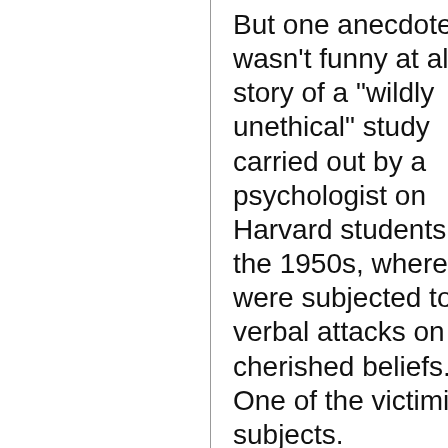But one anecdote wasn't funny at all: the story of a "wildly unethical" study carried out by a psychologist on Harvard students in the 1950s, where they were subjected to verbal attacks on their cherished beliefs. One of the victimized subjects.